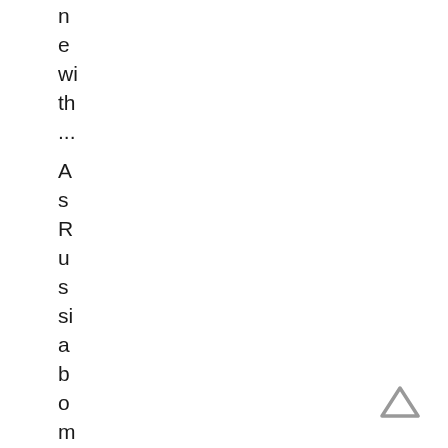ne with ... As Russia bombards east
[Figure (other): Up arrow / caret icon in bottom right corner]